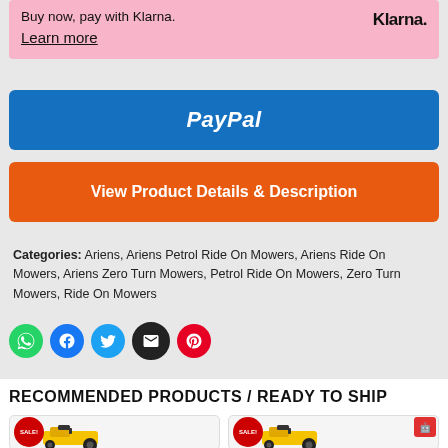Buy now, pay with Klarna.
Learn more
Klarna.
[Figure (other): PayPal payment button — blue rounded rectangle with white italic PayPal logo text]
[Figure (other): Orange rounded button with white bold text: View Product Details & Description]
Categories: Ariens, Ariens Petrol Ride On Mowers, Ariens Ride On Mowers, Ariens Zero Turn Mowers, Petrol Ride On Mowers, Zero Turn Mowers, Ride On Mowers
[Figure (other): Row of 5 social share icons: WhatsApp (green), Facebook (blue), Twitter (light blue), Email (black), Pinterest (red)]
RECOMMENDED PRODUCTS / READY TO SHIP
[Figure (photo): Product card showing a yellow ride-on mower with SALE! badge, left card]
[Figure (photo): Product card showing a yellow ride-on mower with SALE! badge and robot emoji badge, right card]